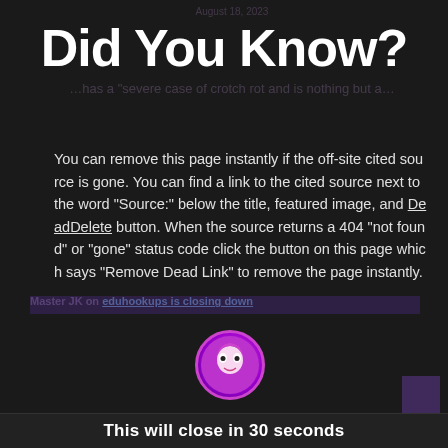Did You Know?
You can remove this page instantly if the off-site cited source is gone. You can find a link to the cited source next to the word "Source:" below the title, featured image, and DeadDelete button. When the source returns a 404 "not found" or "gone" status code click the button on this page which says "Remove Dead Link" to remove the page instantly.
j bravo on Darrell Neely
Why is it if your are a right winger you're an insurrectionist? But if youre a left winger th blow
This will close in 30 seconds